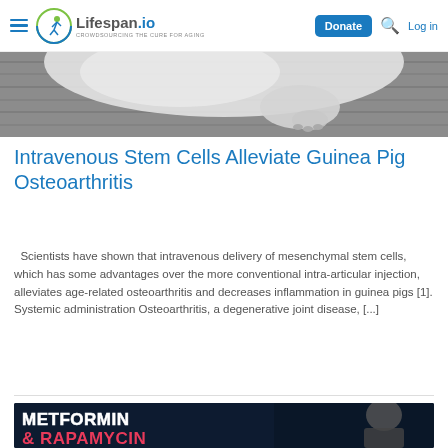Lifespan.io — Donate | Log in
[Figure (photo): Partial close-up photo of a white guinea pig or rodent on a grey surface, cropped to show mostly fur and paw]
Intravenous Stem Cells Alleviate Guinea Pig Osteoarthritis
Scientists have shown that intravenous delivery of mesenchymal stem cells, which has some advantages over the more conventional intra-articular injection, alleviates age-related osteoarthritis and decreases inflammation in guinea pigs [1]. Systemic administration Osteoarthritis, a degenerative joint disease, [...]
[Figure (photo): Thumbnail image with dark background showing bold text 'METFORMIN & RAPAMYCIN' in white and red letters, with a man in a grey t-shirt on the right side]